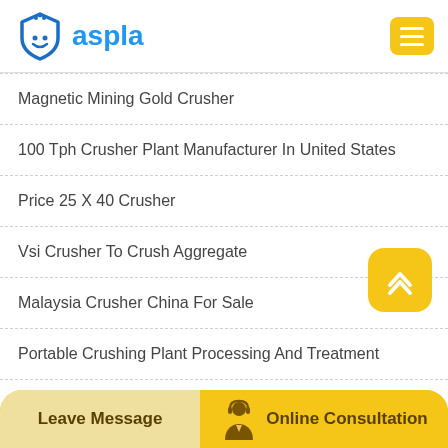[Figure (logo): Aspla logo with blue shield icon and blue text 'aspla', yellow hamburger menu button on the right]
Magnetic Mining Gold Crusher
100 Tph Crusher Plant Manufacturer In United States
Price 25 X 40 Crusher
Vsi Crusher To Crush Aggregate
Malaysia Crusher China For Sale
Portable Crushing Plant Processing And Treatment
Gambar Grinder Crusher
[Figure (illustration): Yellow rounded square scroll-to-top button with upward chevron icon]
Leave Message   Online Consultation